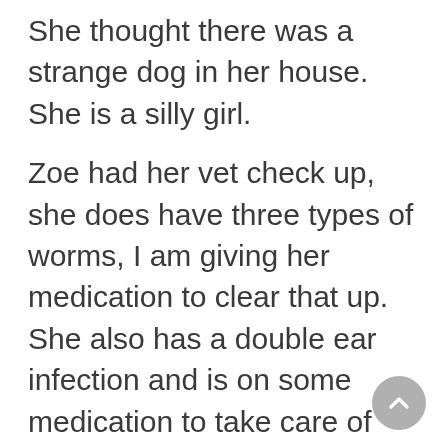She thought there was a strange dog in her house. She is a silly girl.
Zoe had her vet check up, she does have three types of worms, I am giving her medication to clear that up. She also has a double ear infection and is on some medication to take care of that. Zoe has to be spayed and then will be ready to find her forever home. She was pregnant and lost her last litter, her body is not back to normal yet so she will have to wait 3-4 weeks before she can get her spay surgery. She can meet family's